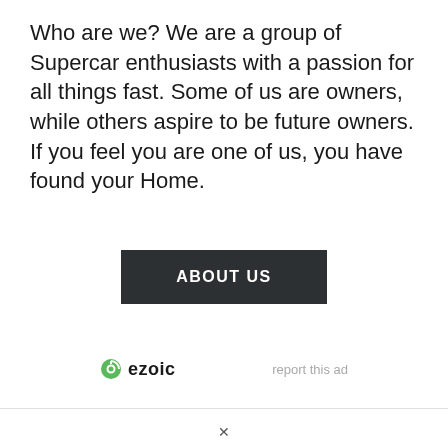Who are we? We are a group of Supercar enthusiasts with a passion for all things fast. Some of us are owners, while others aspire to be future owners. If you feel you are one of us, you have found your Home.
[Figure (other): Dark rectangular button with text ABOUT US in white bold uppercase letters]
[Figure (logo): Ezoic logo with green circular icon and bold text 'ezoic', alongside 'report this ad' link in grey]
×